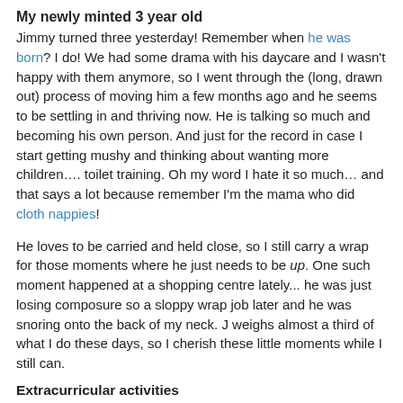My newly minted 3 year old
Jimmy turned three yesterday! Remember when he was born? I do! We had some drama with his daycare and I wasn't happy with them anymore, so I went through the (long, drawn out) process of moving him a few months ago and he seems to be settling in and thriving now. He is talking so much and becoming his own person. And just for the record in case I start getting mushy and thinking about wanting more children…. toilet training. Oh my word I hate it so much… and that says a lot because remember I'm the mama who did cloth nappies!
He loves to be carried and held close, so I still carry a wrap for those moments where he just needs to be up. One such moment happened at a shopping centre lately... he was just losing composure so a sloppy wrap job later and he was snoring onto the back of my neck. J weighs almost a third of what I do these days, so I cherish these little moments while I still can.
Extracurricular activities